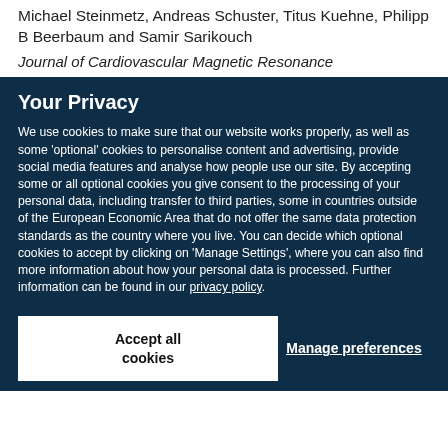Michael Steinmetz, Andreas Schuster, Titus Kuehne, Philipp B Beerbaum and Samir Sarikouch
Journal of Cardiovascular Magnetic Resonance
Your Privacy
We use cookies to make sure that our website works properly, as well as some 'optional' cookies to personalise content and advertising, provide social media features and analyse how people use our site. By accepting some or all optional cookies you give consent to the processing of your personal data, including transfer to third parties, some in countries outside of the European Economic Area that do not offer the same data protection standards as the country where you live. You can decide which optional cookies to accept by clicking on 'Manage Settings', where you can also find more information about how your personal data is processed. Further information can be found in our privacy policy.
Accept all cookies
Manage preferences